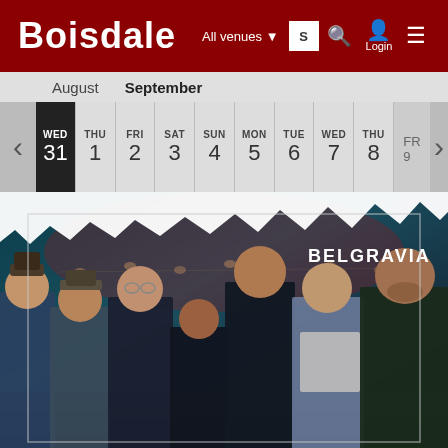BOISDALE — All venues — Login
| WED | THU | FRI | SAT | SUN | MON | TUE | WED | THU |
| --- | --- | --- | --- | --- | --- | --- | --- | --- |
| 31 | 1 | 2 | 3 | 4 | 5 | 6 | 7 | 8 |
[Figure (photo): Group photo of 7 musicians standing together in a dark venue with string lights in background, with torn paper effect overlay and 'BELGRAVIA' text label in upper right]